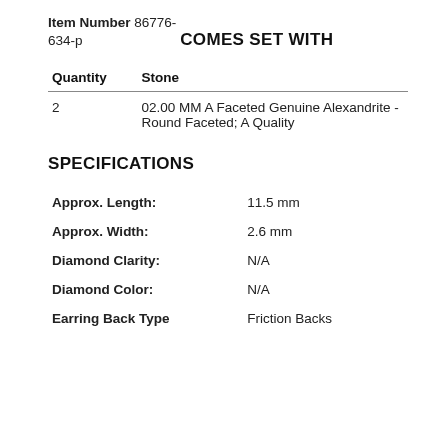Item Number 86776-634-p
COMES SET WITH
| Quantity | Stone |
| --- | --- |
| 2 | 02.00 MM A Faceted Genuine Alexandrite - Round Faceted; A Quality |
SPECIFICATIONS
| Approx. Length: | 11.5 mm |
| Approx. Width: | 2.6 mm |
| Diamond Clarity: | N/A |
| Diamond Color: | N/A |
| Earring Back Type | Friction Backs |